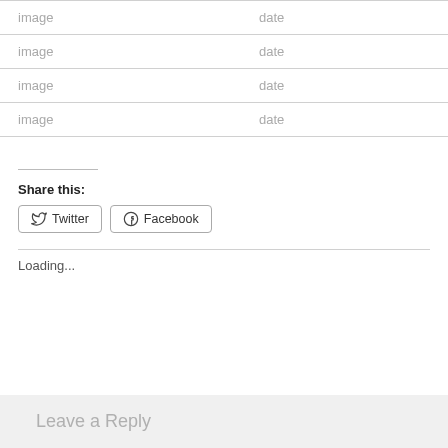| image | date |
| image | date |
| image | date |
| image | date |
Share this:
Twitter
Facebook
Loading...
Leave a Reply